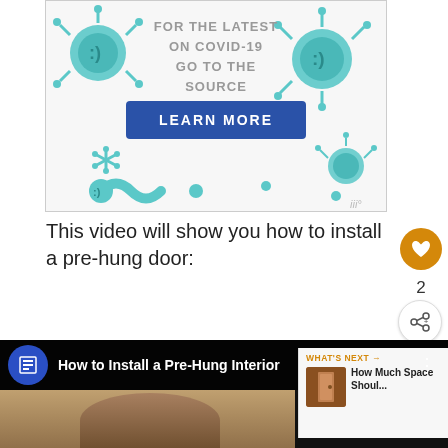[Figure (screenshot): COVID-19 public health advertisement banner with cartoon virus illustrations. Text reads 'FOR THE LATEST ON COVID-19 GO TO THE SOURCE' with a blue 'LEARN MORE' button. Teal virus cartoon characters are scattered around the banner.]
This video will show you how to install a pre-hung door:
[Figure (screenshot): YouTube video thumbnail showing 'How to Install a Pre-Hung Interior' with a person visible. A 'What's Next' overlay shows 'How Much Space Shoul...' with a thumbnail of a door.]